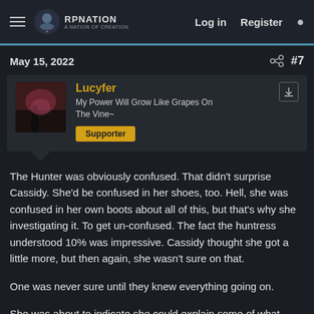RP Nation — Log in  Register
May 15, 2022  #7
Lucyfer
My Power Will Grow Like Grapes On The Vine~
Supporter
The Hunter was obviously confused. That didn't surprise Cassidy. She'd be confused in her shoes, too. Hell, she was confused in her own boots about all of this, but that's why she investigating it. To get un-confused. The fact the huntress understood 10% was impressive. Cassidy thought she got a little more, but then again, she wasn't sure on that.
One was never sure until they knew everything going on.
She was about to indicate she could explain some of what